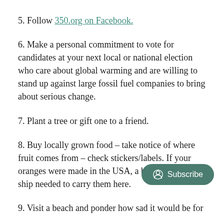5. Follow 350.org on Facebook.
6. Make a personal commitment to vote for candidates at your next local or national election who care about global warming and are willing to stand up against large fossil fuel companies to bring about serious change.
7. Plant a tree or gift one to a friend.
8. Buy locally grown food – take notice of where fruit comes from – check stickers/labels. If your oranges were made in the USA, a big fossil-fueled ship needed to carry them here.
9. Visit a beach and ponder how sad it would be for